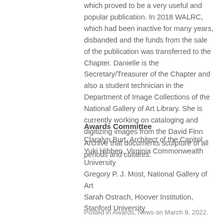which proved to be a very useful and popular publication. In 2018 WALRC, which had been inactive for many years, disbanded and the funds from the sale of the publication was transferred to the Chapter. Danielle is the Secretary/Treasurer of the Chapter and also a student technician in the Department of Image Collections of the National Gallery of Art Library. She is currently working on cataloging and digitizing images from the David Finn Archive that documents sculpture of all periods and cultures.
Awards Committee
Claralyn Burt, Architect of the Capitol
Yuki Hibben, Virginia Commonwealth University
Gregory P. J. Most, National Gallery of Art
Sarah Ostrach, Hoover Institution, Stanford University
Posted in Awards, News on March 9, 2022.